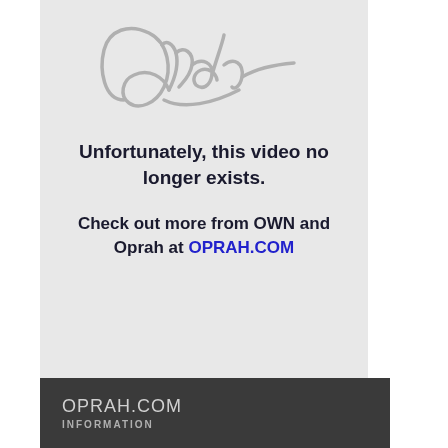[Figure (illustration): Oprah Winfrey signature in gray cursive handwriting on a light gray background]
Unfortunately, this video no longer exists.
Check out more from OWN and Oprah at OPRAH.COM
OPRAH.COM INFORMATION